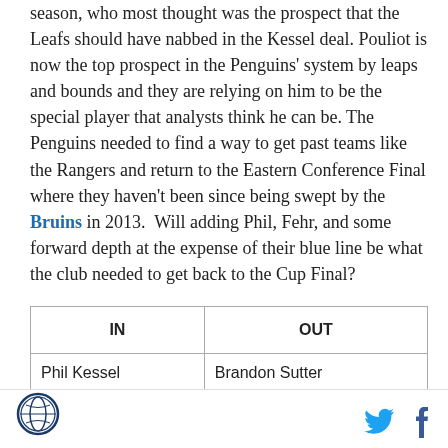season, who most thought was the prospect that the Leafs should have nabbed in the Kessel deal. Pouliot is now the top prospect in the Penguins' system by leaps and bounds and they are relying on him to be the special player that analysts think he can be. The Penguins needed to find a way to get past teams like the Rangers and return to the Eastern Conference Final where they haven't been since being swept by the Bruins in 2013.  Will adding Phil, Fehr, and some forward depth at the expense of their blue line be what the club needed to get back to the Cup Final?
| IN | OUT |
| --- | --- |
| Phil Kessel | Brandon Sutter |
[logo] [twitter] [facebook]